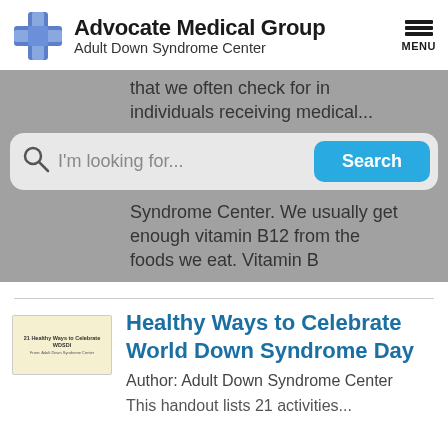[Figure (logo): Advocate Medical Group logo with blue cross and text 'Advocate Medical Group / Adult Down Syndrome Center' plus hamburger menu icon]
that we often check for in individuals receiving medical...
[Figure (screenshot): Search bar with placeholder 'I'm looking for...' and a blue Search button]
Syndrome Center. We usually get enough vitamin B12 from the foods we eat. Vitamin B
[Figure (photo): Thumbnail image for '21 Healthy Ways to Celebrate WDSDI']
Healthy Ways to Celebrate World Down Syndrome Day
Author: Adult Down Syndrome Center
This handout lists 21 activities...